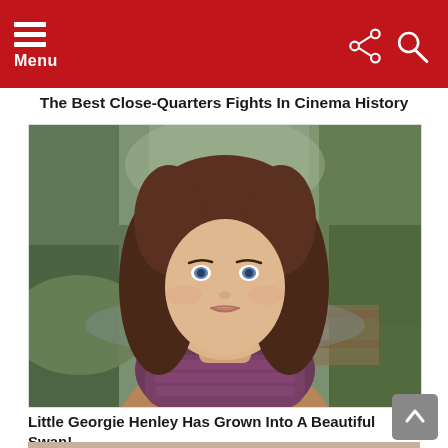Menu
The Best Close-Quarters Fights In Cinema History
[Figure (photo): Portrait photo of Georgie Henley, a young woman with long brown wavy hair and blue eyes, wearing a purple knit scarf and tan coat, standing outdoors near greenery and a wooden structure]
Little Georgie Henley Has Grown Into A Beautiful Swan!
[Figure (photo): Partial photo visible at the bottom of the page, showing the top of a person's head with light/blonde hair]